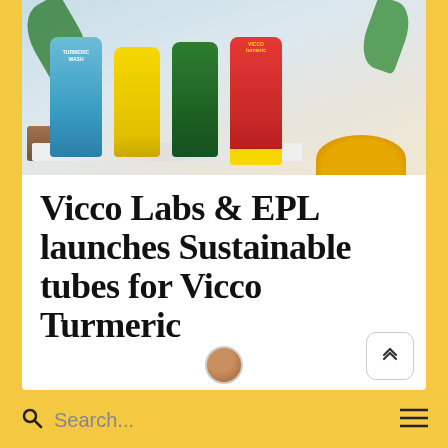[Figure (photo): Product photo showing four turmeric-based cosmetic tubes (blue Turmeric Wash, yellow, green, and red Vicco Turmeric tube) arranged on a marble surface with green leaves and turmeric powder in the background.]
Vicco Labs & EPL launches Sustainable tubes for Vicco Turmeric
Search...